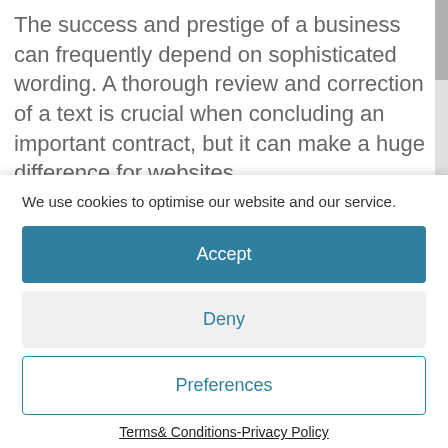The success and prestige of a business can frequently depend on sophisticated wording. A thorough review and correction of a text is crucial when concluding an important contract, but it can make a huge difference for websites,
We use cookies to optimise our website and our service.
Accept
Deny
Preferences
Terms& Conditions-Privacy Policy